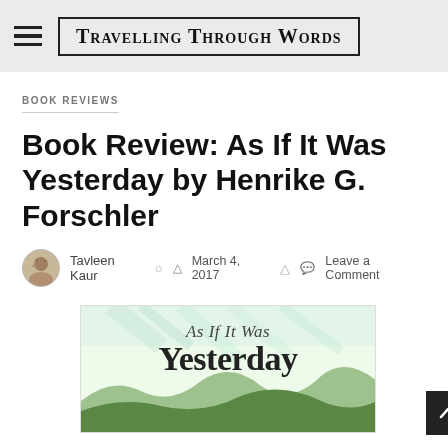TRAVELLING THROUGH WORDS
BOOK REVIEWS
Book Review: As If It Was Yesterday by Henrike G. Forschler
Tavleen Kaur   March 4, 2017   Leave a Comment
[Figure (illustration): Book cover of 'As If It Was Yesterday' showing stylized text on a light yellow-green background with a landscape silhouette at the bottom]